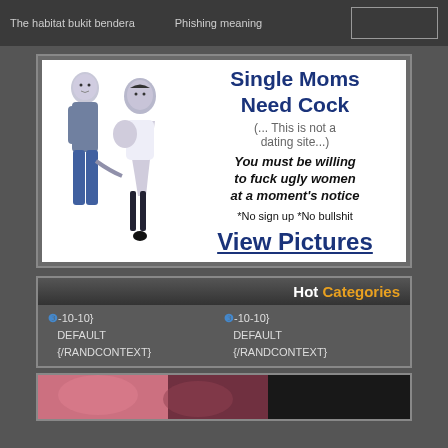The habitat bukit bendera    Phishing meaning
[Figure (illustration): Adult advertisement banner with cartoon illustrations of a man and woman, titled 'Single Moms Need Cock (... This is not a dating site...) You must be willing to fuck ugly women at a moment's notice *No sign up *No bullshit View Pictures']
Hot Categories
❸-10-10} DEFAULT {/RANDCONTEXT}
❸-10-10} DEFAULT {/RANDCONTEXT}
[Figure (photo): Partial photo strip at bottom of page showing people]